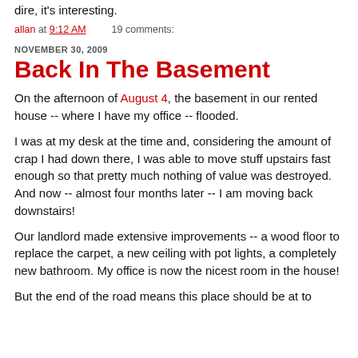dire, it's interesting.
allan at 9:12 AM    19 comments:
NOVEMBER 30, 2009
Back In The Basement
On the afternoon of August 4, the basement in our rented house -- where I have my office -- flooded.
I was at my desk at the time and, considering the amount of crap I had down there, I was able to move stuff upstairs fast enough so that pretty much nothing of value was destroyed. And now -- almost four months later -- I am moving back downstairs!
Our landlord made extensive improvements -- a wood floor to replace the carpet, a new ceiling with pot lights, a completely new bathroom. My office is now the nicest room in the house!
But the end of the road means this place should be at to